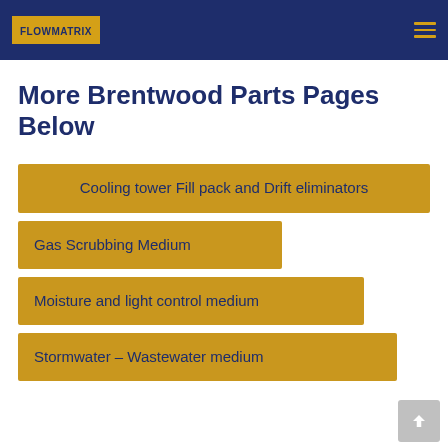FLOWMATRIX
More Brentwood Parts Pages Below
Cooling tower Fill pack and Drift eliminators
Gas Scrubbing Medium
Moisture and light control medium
Stormwater – Wastewater medium